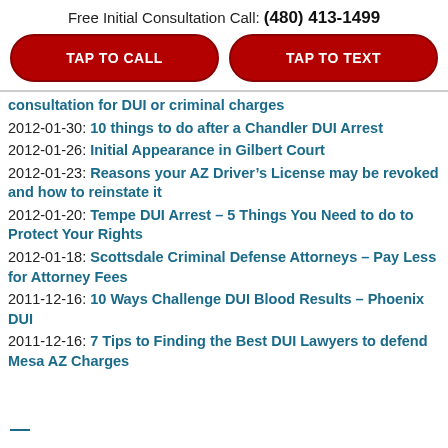Free Initial Consultation Call: (480) 413-1499
TAP TO CALL
TAP TO TEXT
consultation for DUI or criminal charges
2012-01-30: 10 things to do after a Chandler DUI Arrest
2012-01-26: Initial Appearance in Gilbert Court
2012-01-23: Reasons your AZ Driver’s License may be revoked and how to reinstate it
2012-01-20: Tempe DUI Arrest – 5 Things You Need to do to Protect Your Rights
2012-01-18: Scottsdale Criminal Defense Attorneys – Pay Less for Attorney Fees
2011-12-16: 10 Ways Challenge DUI Blood Results – Phoenix DUI
2011-12-16: 7 Tips to Finding the Best DUI Lawyers to defend Mesa AZ Charges